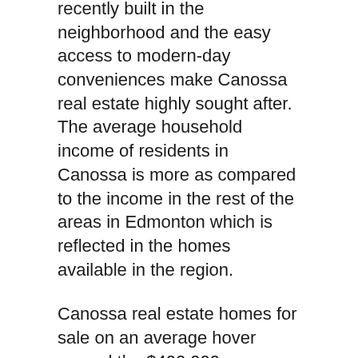recently built in the neighborhood and the easy access to modern-day conveniences make Canossa real estate highly sought after. The average household income of residents in Canossa is more as compared to the income in the rest of the areas in Edmonton which is reflected in the homes available in the region.
Canossa real estate homes for sale on an average hover around the $400,000 range. Two-storey, freestanding homes with spacious yards and attached garages are the rule rather than the exception in Canossa.
Stunning backyard patios, manicured lawns and spacious lots make it easy for residents to enjoy their time outdoors. Canossa real estate features a great balance of properties that are accentuated by matured landscaping. The